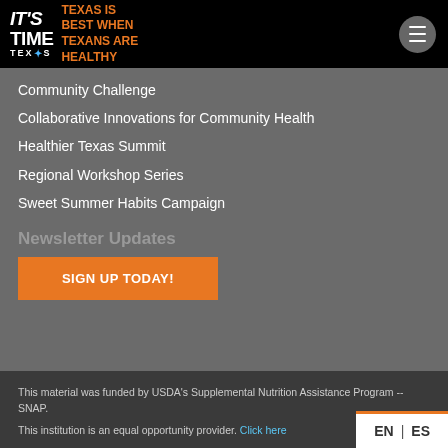IT'S TIME TEXAS — TEXAS IS BEST WHEN TEXANS ARE HEALTHY
Community Challenge
Collaborative Innovations for Community Health
Healthier Texas Summit
Regional Workshop Series
Sweet Summer Habits Campaign
Newsletter Updates
SIGN UP TODAY!
This material was funded by USDA's Supplemental Nutrition Assistance Program -- SNAP.
This institution is an equal opportunity provider. Click here
EN | ES